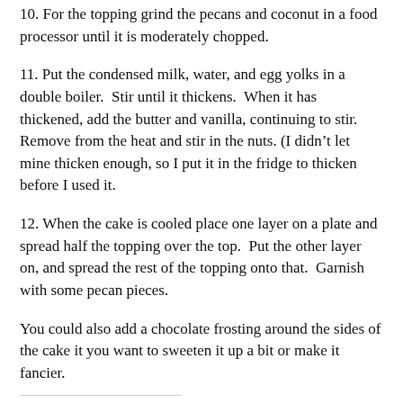10. For the topping grind the pecans and coconut in a food processor until it is moderately chopped.
11. Put the condensed milk, water, and egg yolks in a double boiler.  Stir until it thickens.  When it has thickened, add the butter and vanilla, continuing to stir.  Remove from the heat and stir in the nuts. (I didn’t let mine thicken enough, so I put it in the fridge to thicken before I used it.
12. When the cake is cooled place one layer on a plate and spread half the topping over the top.  Put the other layer on, and spread the rest of the topping onto that.  Garnish with some pecan pieces.
You could also add a chocolate frosting around the sides of the cake it you want to sweeten it up a bit or make it fancier.